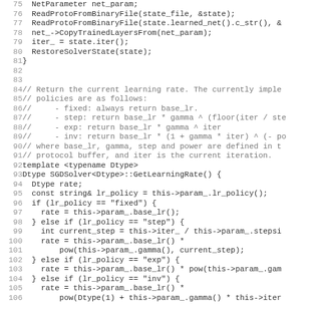[Figure (screenshot): Source code listing in a monospace font showing C++ solver code lines 75-106, including NetParameter, ReadProtoFromBinaryFile, CopyTrainedLayersFrom, RestoreSolverState, and GetLearningRate function with lr_policy branches (fixed, step, exp, inv).]